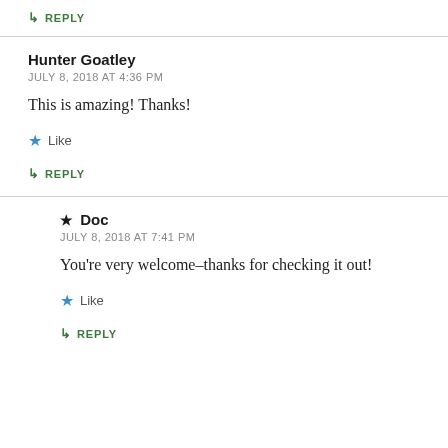↳ REPLY
Hunter Goatley
JULY 8, 2018 AT 4:36 PM
This is amazing! Thanks!
★ Like
↳ REPLY
★ Doc
JULY 8, 2018 AT 7:41 PM
You're very welcome–thanks for checking it out!
★ Like
↳ REPLY